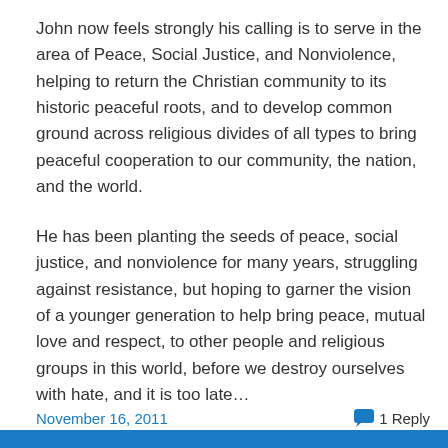John now feels strongly his calling is to serve in the area of Peace, Social Justice, and Nonviolence, helping to return the Christian community to its historic peaceful roots, and to develop common ground across religious divides of all types to bring peaceful cooperation to our community, the nation, and the world.
He has been planting the seeds of peace, social justice, and nonviolence for many years, struggling against resistance, but hoping to garner the vision of a younger generation to help bring peace, mutual love and respect, to other people and religious groups in this world, before we destroy ourselves with hate, and it is too late…
November 16, 2011   1 Reply